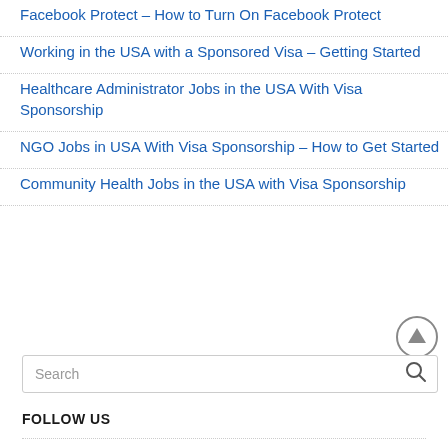Facebook Protect – How to Turn On Facebook Protect
Working in the USA with a Sponsored Visa – Getting Started
Healthcare Administrator Jobs in the USA With Visa Sponsorship
NGO Jobs in USA With Visa Sponsorship – How to Get Started
Community Health Jobs in the USA with Visa Sponsorship
FOLLOW US